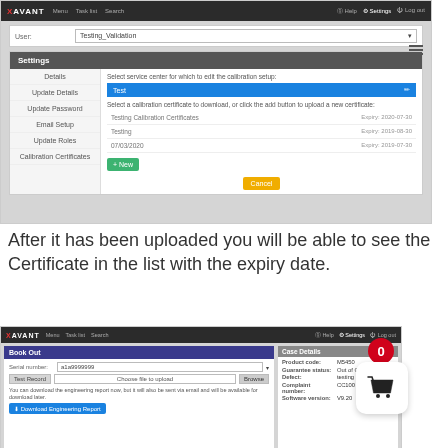[Figure (screenshot): Screenshot of X-AVANT web application showing Settings panel with Calibration Certificates section. Shows a navigation bar, user field set to 'Testing_Validation', Settings menu with sidebar items (Details, Update Details, Update Password, Email Setup, Update Roles, Calibration Certificates), a blue selected service center bar labeled 'Test', and a list of calibration certificates with expiry dates. Green '+ New' button and orange 'Cancel' button visible.]
After it has been uploaded you will be able to see the Certificate in the list with the expiry date.
[Figure (screenshot): Screenshot of X-AVANT web application showing Book Out panel with serial number field, test record button, file chooser, and Case Details panel on right showing Product code: M5450, Guarantee status: Out of Guarantee, Defect: testing 5, Complaint number: CC100, Software version: V9.20. Red notification badge showing 0 and shopping basket icon overlay.]